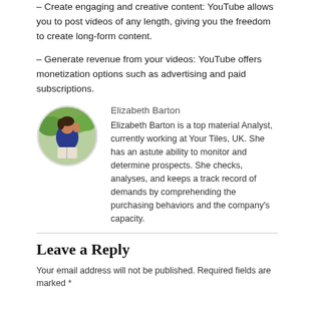– Create engaging and creative content: YouTube allows you to post videos of any length, giving you the freedom to create long-form content.
– Generate revenue from your videos: YouTube offers monetization options such as advertising and paid subscriptions.
[Figure (photo): Circular avatar photo of Elizabeth Barton, a person reading outdoors with green foliage background]
Elizabeth Barton
Elizabeth Barton is a top material Analyst, currently working at Your Tiles, UK. She has an astute ability to monitor and determine prospects. She checks, analyses, and keeps a track record of demands by comprehending the purchasing behaviors and the company's capacity.
Leave a Reply
Your email address will not be published. Required fields are marked *